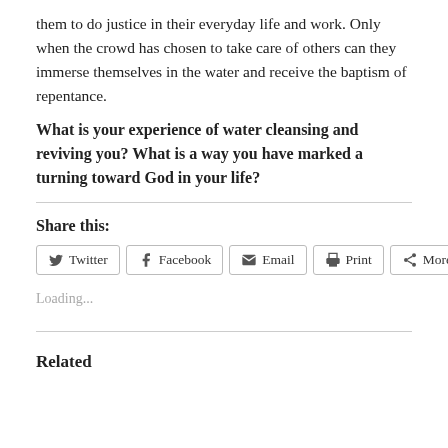them to do justice in their everyday life and work. Only when the crowd has chosen to take care of others can they immerse themselves in the water and receive the baptism of repentance.
What is your experience of water cleansing and reviving you? What is a way you have marked a turning toward God in your life?
Share this:
Twitter  Facebook  Email  Print  More
Loading...
Related